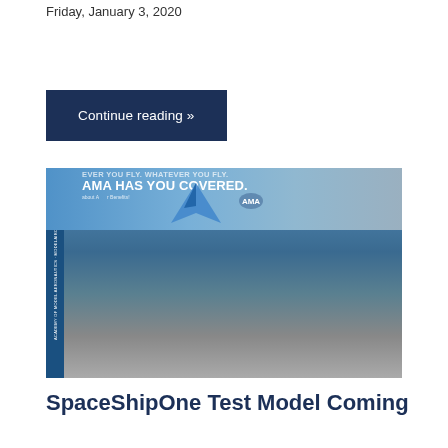Friday, January 3, 2020
Continue reading »
[Figure (photo): Two men in black shirts at an AMA (Academy of Model Aeronautics) booth display, one holding a blue glider model. White SpaceShipOne scale models are on the table in the foreground. An AMA banner reading 'AMA HAS YOU COVERED' is visible in the background.]
SpaceShipOne Test Model Coming